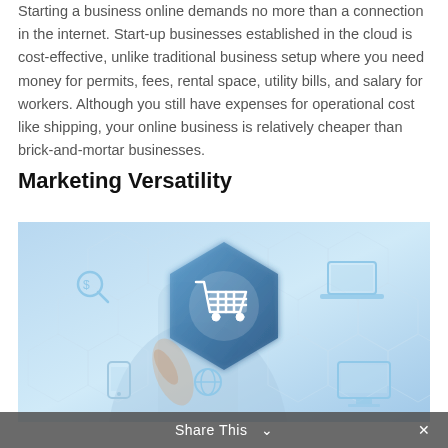Starting a business online demands no more than a connection in the internet. Start-up businesses established in the cloud is cost-effective, unlike traditional business setup where you need money for permits, fees, rental space, utility bills, and salary for workers. Although you still have expenses for operational cost like shipping, your online business is relatively cheaper than brick-and-mortar businesses.
Marketing Versatility
[Figure (photo): A person pointing at a digital interface showing a glowing shopping cart icon within a hexagonal grid, surrounded by other e-commerce and technology icons such as a laptop, magnifying glass, globe, and monitor. The image has a blue-tinted, tech-themed aesthetic.]